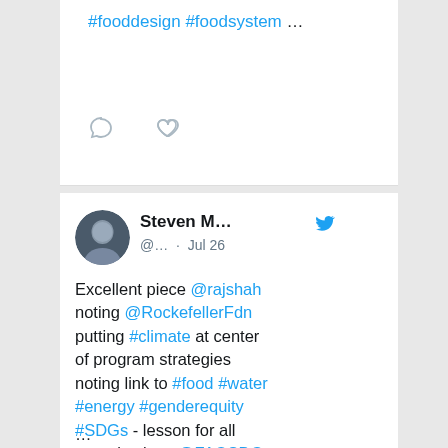#fooddesign #foodsystem …
[Figure (screenshot): Comment and heart (like) icons for Twitter interaction]
Steven M… @… · Jul 26
Excellent piece @rajshah noting @RockefellerFdn putting #climate at center of program strategies noting link to #food #water #energy #genderequity #SDGs - lesson for all organizations @FAOSDGs @Leanpath @pennlps @Ffoodinstitute linkedin.com/pulse/climate-
…
[Figure (photo): Landscape photo with cloudy sky]